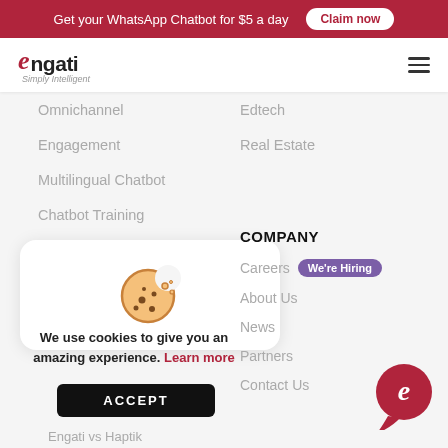Get your WhatsApp Chatbot for $5 a day  Claim now
[Figure (logo): Engati logo with tagline Simply Intelligent and hamburger menu icon]
Omnichannel
Engagement
Multilingual Chatbot
Chatbot Training
Integrations
Edtech
Real Estate
COMPANY
Careers  We're Hiring
About Us
News
Partners
Contact Us
[Figure (illustration): Cookie icon - a bitten cookie with crumbs]
We use cookies to give you an amazing experience. Learn more
ACCEPT
[Figure (logo): Engati chat bubble logo in dark red/crimson color]
Engati vs Haptik